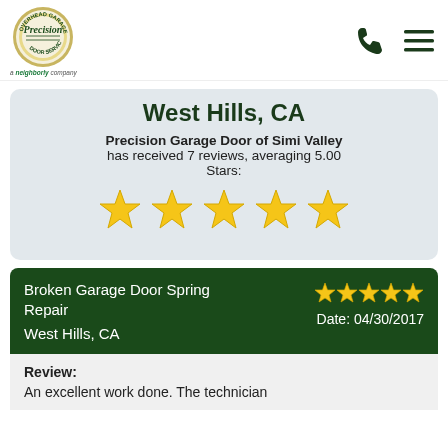[Figure (logo): Precision Overhead Garage Door Service logo - circular badge with Precision in center]
Precision Overhead Garage Door Service — a Neighborly company
West Hills, CA
Precision Garage Door of Simi Valley has received 7 reviews, averaging 5.00 Stars:
[Figure (infographic): Five gold star rating icons]
Broken Garage Door Spring Repair
Date: 04/30/2017
West Hills, CA
Review:
An excellent work done. The technician